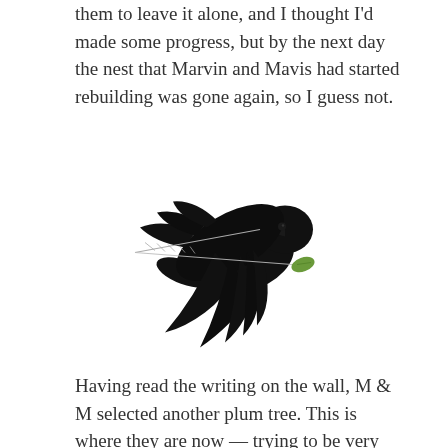them to leave it alone, and I thought I'd made some progress, but by the next day the nest that Marvin and Mavis had started rebuilding was gone again, so I guess not.
[Figure (photo): A black crow or raven in flight, silhouetted against a white background, carrying a thin twig or branch with a small green leaf at the end.]
Having read the writing on the wall, M & M selected another plum tree. This is where they are now — trying to be very quiet as it's rather too close for comfort to